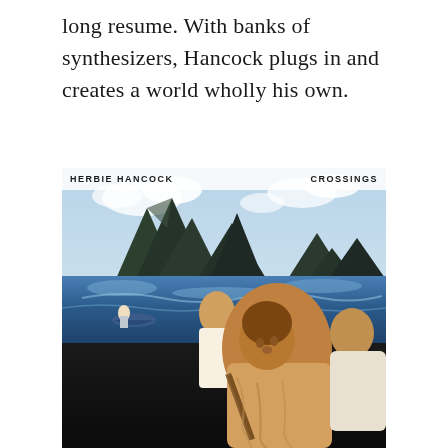long resume. With banks of synthesizers, Hancock plugs in and creates a world wholly his own.
[Figure (illustration): Album cover for Herbie Hancock 'Crossings'. A surrealist painting showing several African figures in robes in the foreground, one playing a flute/pipe instrument, with a seascape behind showing a small boat with a figure rowing, and dramatic rocky mountains rising from blue water under a cloudy sky. Text 'HERBIE HANCOCK' top left and 'CROSSINGS' top right.]